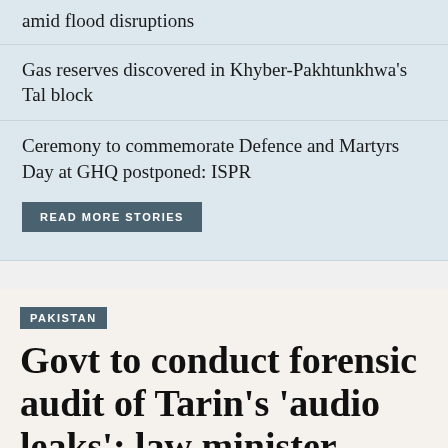amid flood disruptions
Gas reserves discovered in Khyber-Pakhtunkhwa's Tal block
Ceremony to commemorate Defence and Martyrs Day at GHQ postponed: ISPR
READ MORE STORIES
PAKISTAN
Govt to conduct forensic audit of Tarin's 'audio leaks': law minister
Consultation with the interior and law ministries underway, Azam Nazeer Tarar says